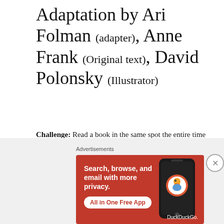Adaptation by Ari Folman (adapter), Anne Frank (Original text), David Polonsky (Illustrator)
Challenge: Read a book in the same spot the entire time
[Completed]
I already read this one and absolutely loved it! I'll be talking about the books I've read more in my wrap up but wow, this was so good.
[Figure (infographic): DuckDuckGo advertisement banner with orange/red background. Text reads: 'Search, browse, and email with more privacy. All in One Free App'. Shows a phone with DuckDuckGo logo. Has a close (X) button.]